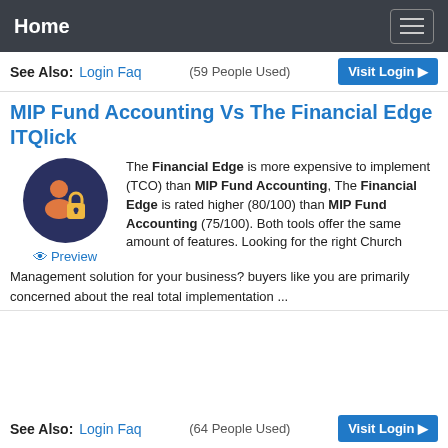Home
See Also: Login Faq (59 People Used) Visit Login
MIP Fund Accounting Vs The Financial Edge ITQlick
[Figure (illustration): Circular dark blue icon showing a person silhouette with a padlock, with a Preview link below]
The Financial Edge is more expensive to implement (TCO) than MIP Fund Accounting, The Financial Edge is rated higher (80/100) than MIP Fund Accounting (75/100). Both tools offer the same amount of features. Looking for the right Church Management solution for your business? buyers like you are primarily concerned about the real total implementation ...
See Also: Login Faq (64 People Used) Visit Login